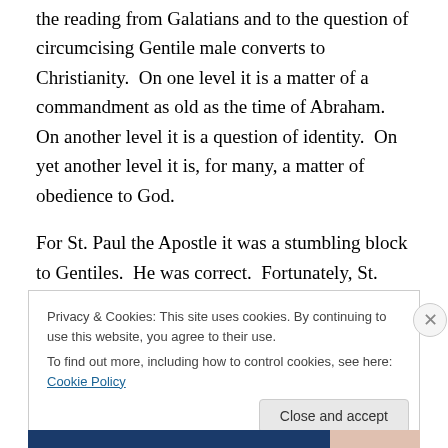the reading from Galatians and to the question of circumcising Gentile male converts to Christianity.  On one level it is a matter of a commandment as old as the time of Abraham.  On another level it is a question of identity.  On yet another level it is, for many, a matter of obedience to God.
For St. Paul the Apostle it was a stumbling block to Gentiles.  He was correct.  Fortunately, St. Paul won that debate.
Privacy & Cookies: This site uses cookies. By continuing to use this website, you agree to their use.
To find out more, including how to control cookies, see here: Cookie Policy